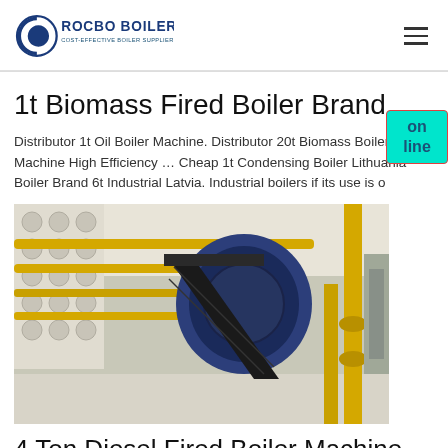ROCBO BOILER - COST-EFFECTIVE BOILER SUPPLIER
1t Biomass Fired Boiler Brand...
Distributor 1t Oil Boiler Machine. Distributor 20t Biomass Boiler Machine High Efficiency … Cheap 1t Condensing Boiler Lithuania Boiler Brand 6t Industrial Latvia. Industrial boilers if its use is o
[Figure (photo): Industrial boiler facility interior showing large blue cylindrical boiler equipment with yellow piping, metal staircases, and industrial infrastructure in a warehouse setting]
4 Ton Diesel Fired Boiler Machine...